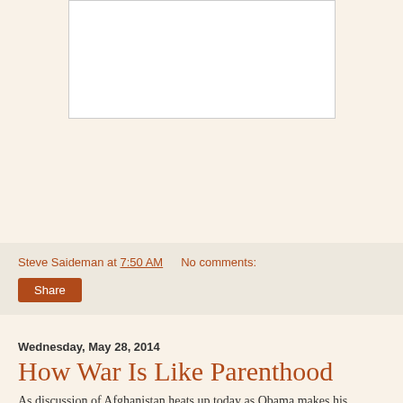[Figure (other): White rectangular image placeholder box with thin border on cream/beige background]
Steve Saideman at 7:50 AM   No comments:
Share
Wednesday, May 28, 2014
How War Is Like Parenthood
As discussion of Afghanistan heats up today as Obama makes his